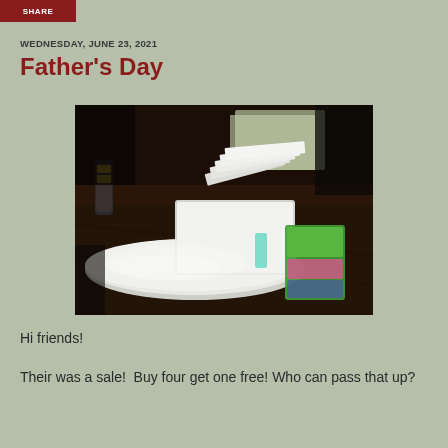SHARE
WEDNESDAY, JUNE 23, 2021
Father's Day
[Figure (photo): Photo of wrapped packages and gifts piled on a dark wooden table, including white bubble mailers and colorful items in plastic packaging.]
Hi friends!
Their was a sale!  Buy four get one free! Who can pass that up?